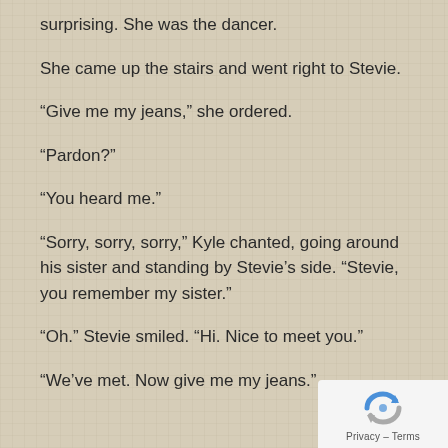surprising. She was the dancer.
She came up the stairs and went right to Stevie.
“Give me my jeans,” she ordered.
“Pardon?”
“You heard me.”
“Sorry, sorry, sorry,” Kyle chanted, going around his sister and standing by Stevie’s side. “Stevie, you remember my sister.”
“Oh.” Stevie smiled. “Hi. Nice to meet you.”
“We’ve met. Now give me my jeans.”
[Figure (logo): Google reCAPTCHA privacy badge with rotating arrows icon and Privacy - Terms text]